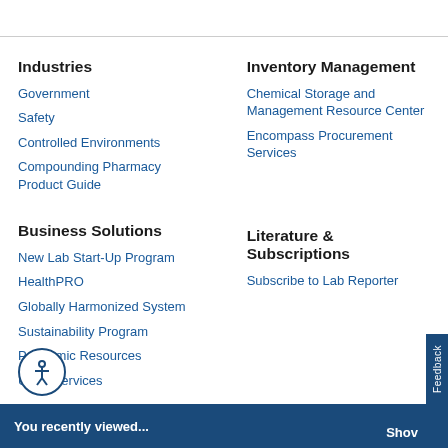Industries
Government
Safety
Controlled Environments
Compounding Pharmacy Product Guide
Inventory Management
Chemical Storage and Management Resource Center
Encompass Procurement Services
Business Solutions
New Lab Start-Up Program
HealthPRO
Globally Harmonized System
Sustainability Program
Pandemic Resources
ULab Services
Literature & Subscriptions
Subscribe to Lab Reporter
You recently viewed... Show